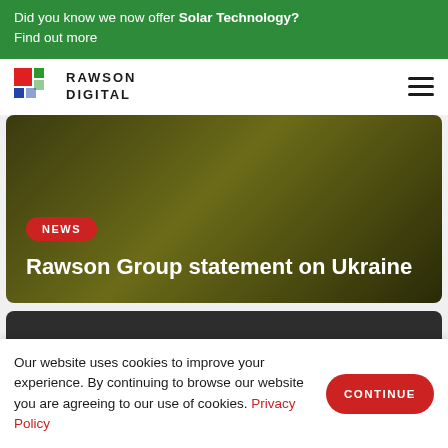Did you know we now offer Solar Technology? Find out more
[Figure (logo): Rawson Digital logo with colored squares (red, green, blue) and text RAWSON DIGITAL]
Rawson Group statement on Ukraine
Our website uses cookies to improve your experience. By continuing to browse our website you are agreeing to our use of cookies. Privacy Policy